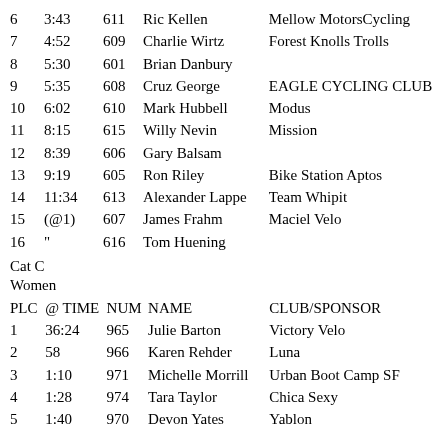| PLC | @ TIME | NUM | NAME | CLUB/SPONSOR |
| --- | --- | --- | --- | --- |
| 6 | 3:43 | 611 | Ric Kellen | Mellow MotorsCycling |
| 7 | 4:52 | 609 | Charlie Wirtz | Forest Knolls Trolls |
| 8 | 5:30 | 601 | Brian Danbury |  |
| 9 | 5:35 | 608 | Cruz George | EAGLE CYCLING CLUB |
| 10 | 6:02 | 610 | Mark Hubbell | Modus |
| 11 | 8:15 | 615 | Willy Nevin | Mission |
| 12 | 8:39 | 606 | Gary Balsam |  |
| 13 | 9:19 | 605 | Ron Riley | Bike Station Aptos |
| 14 | 11:34 | 613 | Alexander Lappe | Team Whipit |
| 15 | (@1) | 607 | James Frahm | Maciel Velo |
| 16 | " | 616 | Tom Huening |  |
Cat C
Women
| PLC | @ TIME | NUM | NAME | CLUB/SPONSOR |
| --- | --- | --- | --- | --- |
| 1 | 36:24 | 965 | Julie Barton | Victory Velo |
| 2 | 58 | 966 | Karen Rehder | Luna |
| 3 | 1:10 | 971 | Michelle Morrill | Urban Boot Camp SF |
| 4 | 1:28 | 974 | Tara Taylor | Chica Sexy |
| 5 | 1:40 | 970 | Devon Yates | Yablon |